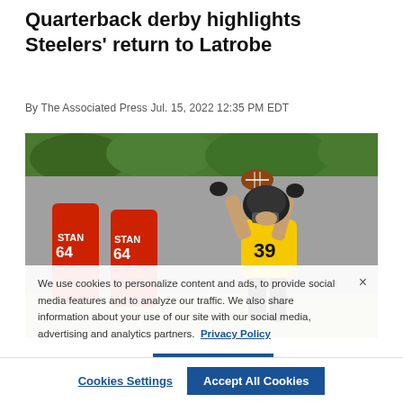Quarterback derby highlights Steelers' return to Latrobe
By The Associated Press Jul. 15, 2022 12:35 PM EDT
[Figure (photo): Pittsburgh Steelers player wearing yellow jersey number 39 catching a football during practice, red blocking dummies labeled 64 in background, green foliage behind]
We use cookies to personalize content and ads, to provide social media features and to analyze our traffic. We also share information about your use of our site with our social media, advertising and analytics partners. Privacy Policy
Steelers sign star safety Minkah Fitzpatrick to 5-year deal
Cookies Settings
Accept All Cookies